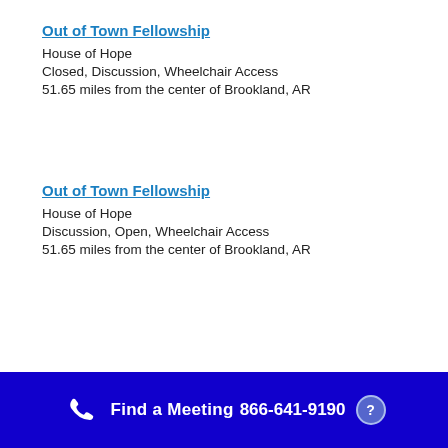Out of Town Fellowship
House of Hope
Closed, Discussion, Wheelchair Access
51.65 miles from the center of Brookland, AR
Out of Town Fellowship
House of Hope
Discussion, Open, Wheelchair Access
51.65 miles from the center of Brookland, AR
Find a Meeting  866-641-9190